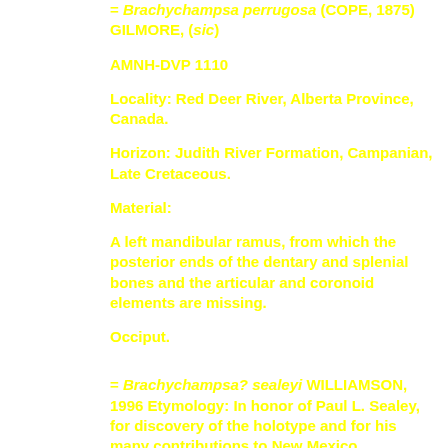= Brachychampsa perrugosa (COPE, 1875) GILMORE, (sic)
AMNH-DVP 1110
Locality: Red Deer River, Alberta Province, Canada.
Horizon: Judith River Formation, Campanian, Late Cretaceous.
Material:
A left mandibular ramus, from which the posterior ends of the dentary and splenial bones and the articular and coronoid elements are missing.
Occiput.
= Brachychampsa? sealeyi WILLIAMSON, 1996 Etymology: In honor of Paul L. Sealey, for discovery of the holotype and for his many contributions to New Mexico Paleontology = Brachychampsa nova WILLIAMSON &